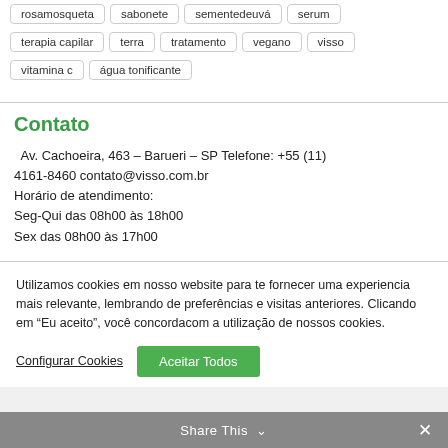rosamosqueta | sabonete | sementedeuvá | serum
terapia capilar | terra | tratamento | vegano | visso
vitamina c | água tonificante
Contato
Av. Cachoeira, 463 – Barueri – SP Telefone: +55 (11) 4161-8460 contato@visso.com.br
Horário de atendimento:
Seg-Qui das 08h00 às 18h00
Sex das 08h00 às 17h00
Utilizamos cookies em nosso website para te fornecer uma experiencia mais relevante, lembrando de preferências e visitas anteriores. Clicando em "Eu aceito", você concordacom a utilização de nossos cookies.
Configurar Cookies
Aceitar Todos
Share This ∨  ✕